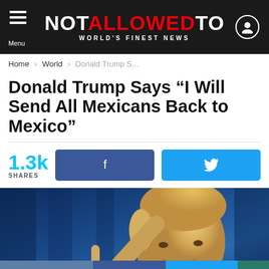NOT ALLOWED TO — WORLD'S FINEST NEWS
Home › World › Donald Trump S...
Donald Trump Says “I Will Send All Mexicans Back to Mexico”
1.3k SHARES
[Figure (photo): Photo of Donald Trump pointing upward with one finger, in front of blue curtains]
13261 SHARES